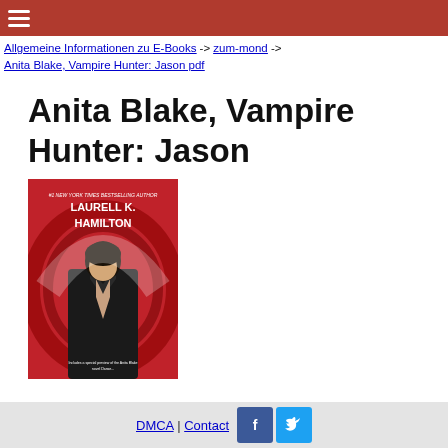≡ (hamburger menu)
Allgemeine Informationen zu E-Books -> zum-mond -> Anita Blake, Vampire Hunter: Jason pdf
Anita Blake, Vampire Hunter: Jason
[Figure (illustration): Book cover of Anita Blake, Vampire Hunter: Jason by Laurell K. Hamilton. Red background with circular swoosh design, man in black leather jacket with exposed chest. Text: #1 New York Times Bestselling Author, Laurell K. Hamilton, Includes a special preview of the Anita Blake novel Danse...]
DMCA | Contact [Facebook icon] [Twitter icon]